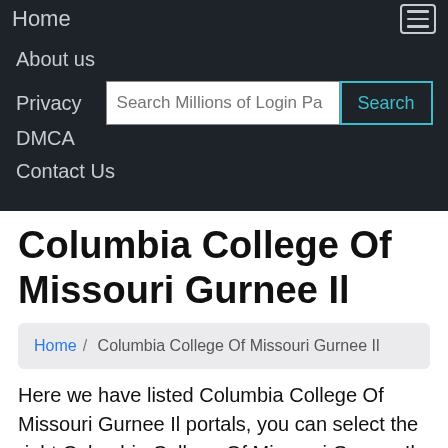Home
About us
Privacy
DMCA
Contact Us
Columbia College Of Missouri Gurnee Il
Home / Columbia College Of Missouri Gurnee Il
Here we have listed Columbia College Of Missouri Gurnee Il portals, you can select the right Columbia College Of Missouri Gurnee Il page from the below list of pages. We try to